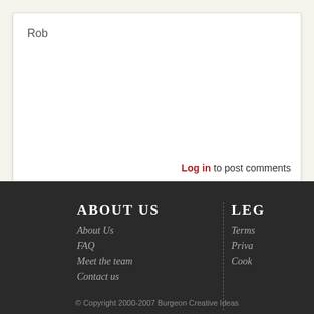Rob
Log in to post comments
ABOUT US
About Us
FAQ
Meet the team
Contact us
LEG
Terms
Privacy
Cookies
© Copyright 2000-2007 Burgeon Creative Ideas